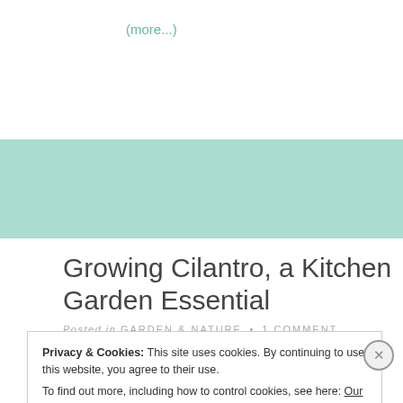(more…)
[Figure (other): Teal/mint green decorative banner band]
Growing Cilantro, a Kitchen Garden Essential
Posted in GARDEN & NATURE • 1 COMMENT
Privacy & Cookies: This site uses cookies. By continuing to use this website, you agree to their use. To find out more, including how to control cookies, see here: Our Cookie Policy
close